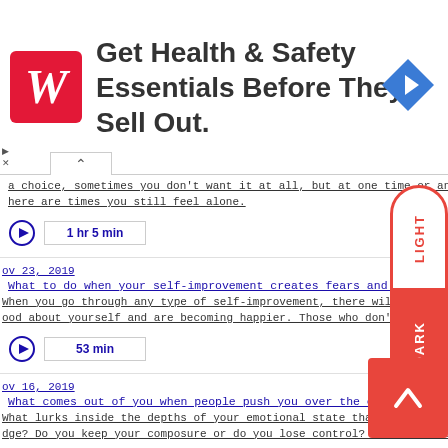[Figure (screenshot): Walgreens advertisement banner: red Walgreens logo with W, text 'Get Health & Safety Essentials Before They Sell Out.', blue diamond arrow icon on right]
a choice, sometimes you don't want it at all, but at one time or another, you're alone. Even when here are times you still feel alone.
1 hr 5 min
ov 23, 2019
What to do when your self-improvement creates fears and conflict in others
When you go through any type of self-improvement, there will be people that won't support your gro d the good about yourself and are becoming happier. Those who don't support you improving yourself an g ch
53 min
ov 16, 2019
What comes out of you when people push you over the edge
What lurks inside the depths of your emotional state that is conjured up when you are triggered? What happen s dge? Do you keep your composure or do you lose control? The unhealed emotional space inside you tends to d